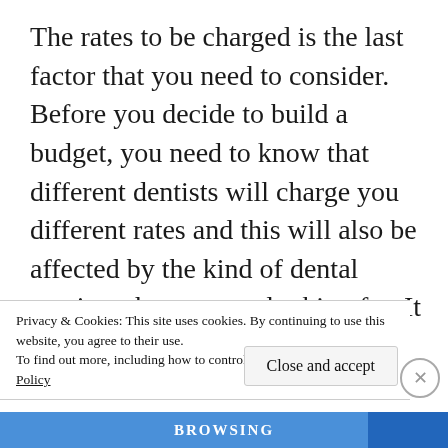The rates to be charged is the last factor that you need to consider. Before you decide to build a budget, you need to know that different dentists will charge you different rates and this will also be affected by the kind of dental services that you are looking for. It is therefore important that you check with different dentists enquiring how much they will charge you for the services that you need before you book an appointment with any of them. This will
Privacy & Cookies: This site uses cookies. By continuing to use this website, you agree to their use.
To find out more, including how to control cookies, see here: Cookie Policy
Close and accept